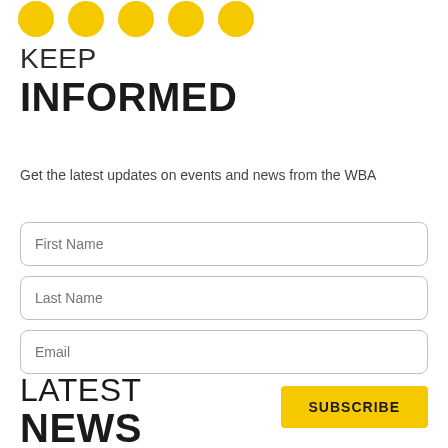[Figure (illustration): Row of yellow circular social media/icon buttons partially visible at the top of the page]
KEEP INFORMED
Get the latest updates on events and news from the WBA
First Name [input field]
Last Name [input field]
Email [input field]
SUBSCRIBE [button]
LATEST NEWS